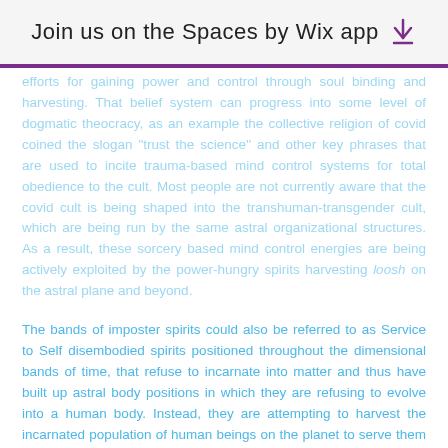Join us on the Spaces by Wix app
efforts for gaining power and control through soul binding and harvesting. That belief system can progress into some level of dogmatic theocracy, as an example the collective religion of covid coined the slogan “trust the science” and other key phrases that are used to incite trauma-based mind control systems for total obedience to the cult. Most people are not currently aware that the covid cult is being shaped into the transhuman-transgender cult, which are being run by the same astral organizational structures. As a result, these sorcery based mind control energies are being actively exploited by the power-hungry spirits harvesting loosh on the astral plane and beyond.
The bands of imposter spirits could also be referred to as Service to Self disembodied spirits positioned throughout the dimensional bands of time, that refuse to incarnate into matter and thus have built up astral body positions in which they are refusing to evolve into a human body. Instead, they are attempting to harvest the incarnated population of human beings on the planet to serve them in life and in death to preserve their power structures in an astral reality. To